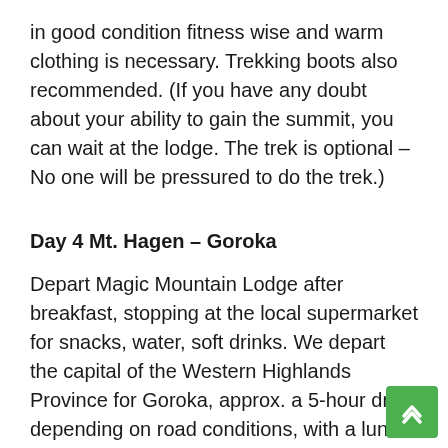in good condition fitness wise and warm clothing is necessary. Trekking boots also recommended. (If you have any doubt about your ability to gain the summit, you can wait at the lodge. The trek is optional – No one will be pressured to do the trek.)
Day 4 Mt. Hagen – Goroka
Depart Magic Mountain Lodge after breakfast, stopping at the local supermarket for snacks, water, soft drinks. We depart the capital of the Western Highlands Province for Goroka, approx. a 5-hour drive depending on road conditions, with a lunch stop at a hotel in Kundiawa. Admire the Highlands landscape